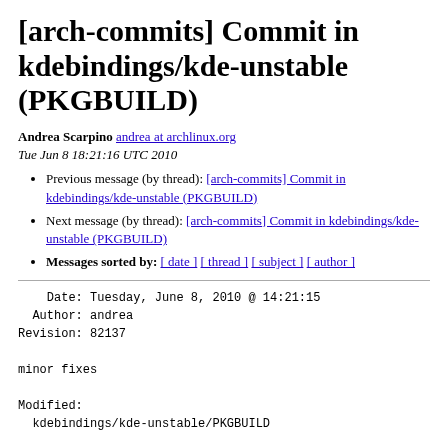[arch-commits] Commit in kdebindings/kde-unstable (PKGBUILD)
Andrea Scarpino andrea at archlinux.org
Tue Jun 8 18:21:16 UTC 2010
Previous message (by thread): [arch-commits] Commit in kdebindings/kde-unstable (PKGBUILD)
Next message (by thread): [arch-commits] Commit in kdebindings/kde-unstable (PKGBUILD)
Messages sorted by: [ date ] [ thread ] [ subject ] [ author ]
Date: Tuesday, June 8, 2010 @ 14:21:15
  Author: andrea
Revision: 82137

minor fixes

Modified:
  kdebindings/kde-unstable/PKGBUILD